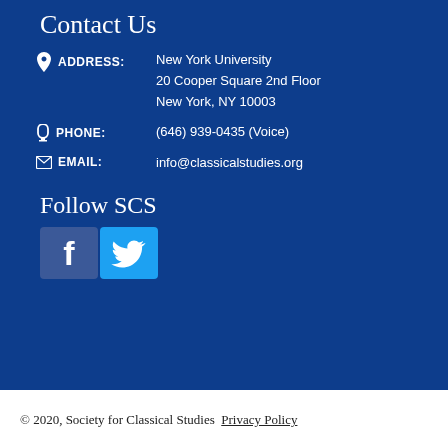Contact Us
ADDRESS: New York University 20 Cooper Square 2nd Floor New York, NY 10003
PHONE: (646) 939-0435 (Voice)
EMAIL: info@classicalstudies.org
Follow SCS
[Figure (logo): Facebook and Twitter social media icons]
© 2020, Society for Classical Studies  Privacy Policy